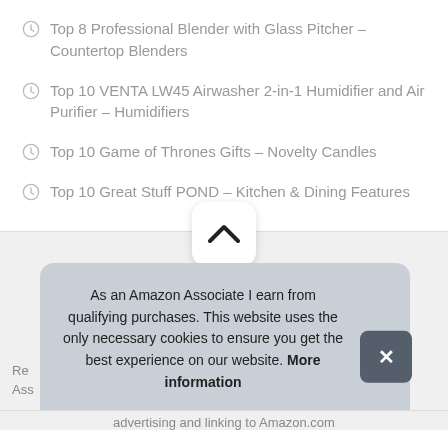Top 8 Professional Blender with Glass Pitcher – Countertop Blenders
Top 10 VENTA LW45 Airwasher 2-in-1 Humidifier and Air Purifier – Humidifiers
Top 10 Game of Thrones Gifts – Novelty Candles
Top 10 Great Stuff POND – Kitchen & Dining Features
[Figure (screenshot): Scroll-to-top button with upward chevron]
As an Amazon Associate I earn from qualifying purchases. This website uses the only necessary cookies to ensure you get the best experience on our website. More information
advertising and linking to Amazon.com